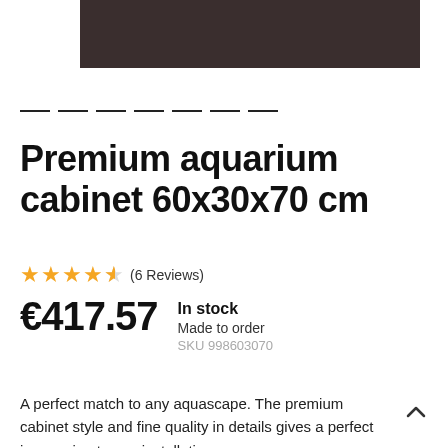[Figure (photo): Dark brown rectangular product image (cabinet top surface) shown partially cropped at the top of the page]
Premium aquarium cabinet 60x30x70 cm
★★★★★ (6 Reviews)
€417.57  In stock
Made to order
SKU 998603070
A perfect match to any aquascape. The premium cabinet style and fine quality in details gives a perfect impression to any installation.